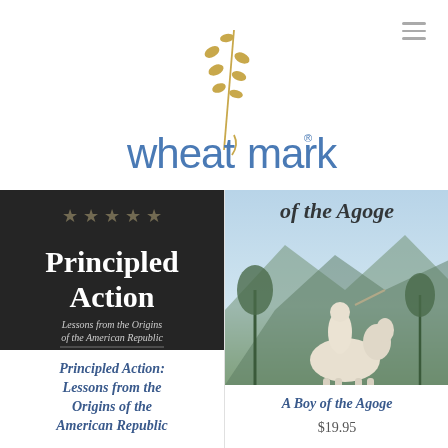[Figure (logo): Wheatmark publisher logo with wheat stalk graphic above the word 'wheatmark' in blue and gold with registered trademark symbol]
[Figure (photo): Book cover of 'Principled Action: Lessons from the Origins of the American Republic' by James D. Best — dark background with stars, bold white title text]
[Figure (photo): Book cover of 'A Boy of the Agoge' — classical Greek-style figure with horse, mountain background in blue tones]
Principled Action: Lessons from the Origins of the American Republic
A Boy of the Agoge
$19.95